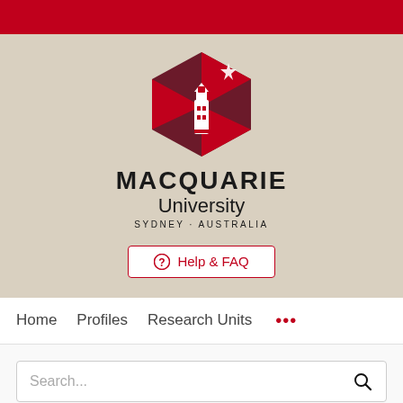[Figure (logo): Macquarie University logo with lighthouse and geometric red/maroon hexagonal shape with star, and text MACQUARIE University SYDNEY·AUSTRALIA]
[Figure (screenshot): Help & FAQ button with orange circle-info icon]
Home   Profiles   Research Units   ...
Search...
Deficit-specific diagnosis and remediation of auditory processing